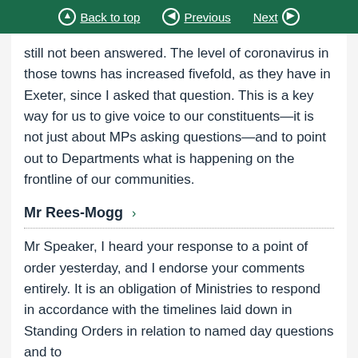Back to top  Previous  Next
still not been answered. The level of coronavirus in those towns has increased fivefold, as they have in Exeter, since I asked that question. This is a key way for us to give voice to our constituents—it is not just about MPs asking questions—and to point out to Departments what is happening on the frontline of our communities.
Mr Rees-Mogg
Mr Speaker, I heard your response to a point of order yesterday, and I endorse your comments entirely. It is an obligation of Ministries to respond in accordance with the timelines laid down in Standing Orders in relation to named day questions and to